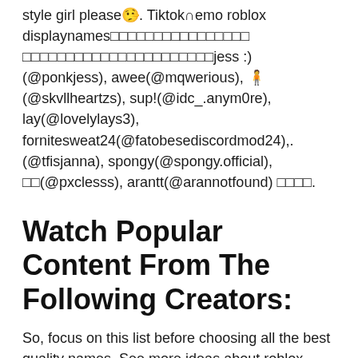style girl please🤥. Tiktok∩emo roblox displaynames□□□□□□□□□□□□□□□□ □□□□□□□□□□□□□□□□□□□□□□jess :)(@ponkjess), awee(@mqwerious), 🧍(@skvllheartzs), sup!(@idc_.anym0re), lay(@lovelylays3), fornitesweat24(@fatobesediscordmod24),. (@tfisjanna), spongy(@spongy.official), □□(@pxclesss), arantt(@arannotfound) □□□□.
Watch Popular Content From The Following Creators:
So, focus on this list before choosing all the best quality names. See more ideas about roblox, cool avatars, roblox 3. Unique emo